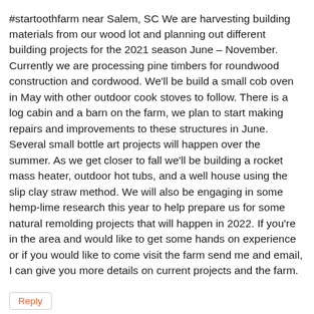#startoothfarm near Salem, SC We are harvesting building materials from our wood lot and planning out different building projects for the 2021 season June – November.
Currently we are processing pine timbers for roundwood construction and cordwood. We'll be build a small cob oven in May with other outdoor cook stoves to follow. There is a log cabin and a barn on the farm, we plan to start making repairs and improvements to these structures in June. Several small bottle art projects will happen over the summer. As we get closer to fall we'll be building a rocket mass heater, outdoor hot tubs, and a well house using the slip clay straw method. We will also be engaging in some hemp-lime research this year to help prepare us for some natural remolding projects that will happen in 2022. If you're in the area and would like to get some hands on experience or if you would like to come visit the farm send me and email, I can give you more details on current projects and the farm.
Reply